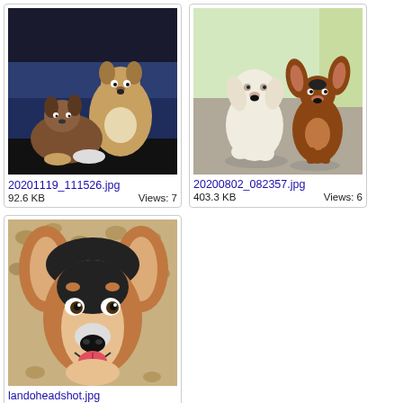[Figure (photo): Two brown and tan puppies sitting on a dark couch/sofa]
20201119_111526.jpg
92.6 KB    Views: 7
[Figure (photo): Two dogs sitting outdoors on pavement — a white dog and a brown/black dog with large ears]
20200802_082357.jpg
403.3 KB    Views: 6
[Figure (photo): Close-up headshot of a Corgi dog with large ears, looking at camera, smiling, on a leopard-print background]
landoheadshot.jpg
176.9 KB    Views: 5